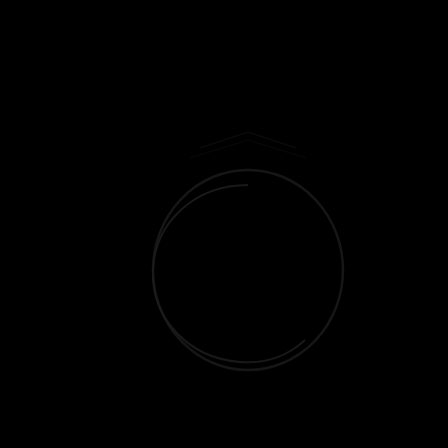[Figure (other): A dark, nearly all-black image with a faint circular/oval outline shape visible in the center-right area, possibly a logo or emblem outline against a black background. The shape appears to be a partial circle or shield outline with very low contrast against the dark background.]